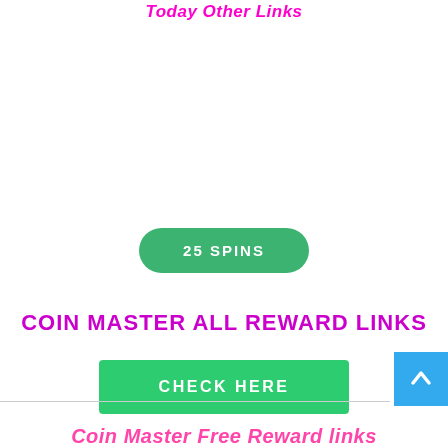Today Other Links
[Figure (other): Green rounded button with text '25 SPINS']
COIN MASTER ALL REWARD LINKS
[Figure (other): Green rectangular button with text 'CHECK HERE']
Coin Master Free Reward links